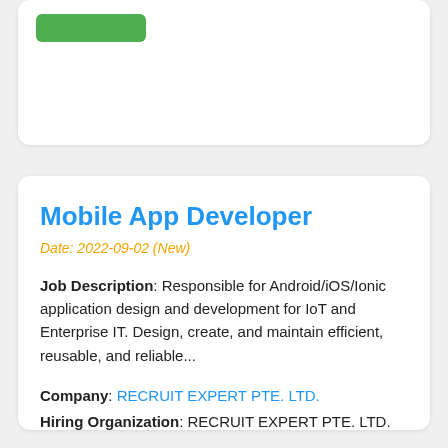[Figure (other): Green button/badge element in top card]
Mobile App Developer
Date: 2022-09-02 (New)
Job Description: Responsible for Android/iOS/Ionic application design and development for IoT and Enterprise IT. Design, create, and maintain efficient, reusable, and reliable...
Company: RECRUIT EXPERT PTE. LTD.
Hiring Organization: RECRUIT EXPERT PTE. LTD.